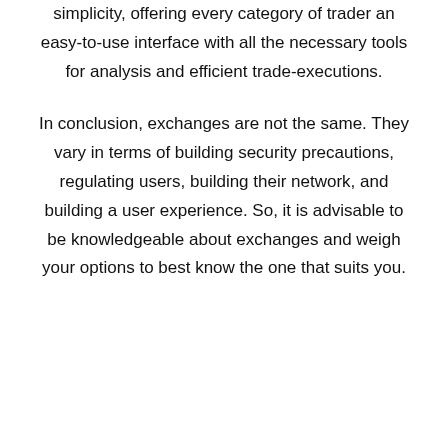simplicity, offering every category of trader an easy-to-use interface with all the necessary tools for analysis and efficient trade-executions.
In conclusion, exchanges are not the same. They vary in terms of building security precautions, regulating users, building their network, and building a user experience. So, it is advisable to be knowledgeable about exchanges and weigh your options to best know the one that suits you.